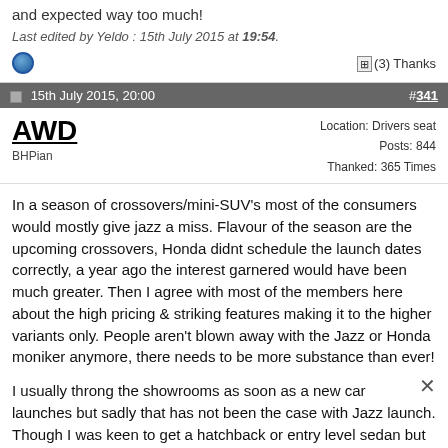and expected way too much!
Last edited by Yeldo : 15th July 2015 at 19:54.
(3) Thanks
15th July 2015, 20:00  #341
AWD
BHPian
Location: Drivers seat
Posts: 844
Thanked: 365 Times
In a season of crossovers/mini-SUV's most of the consumers would mostly give jazz a miss. Flavour of the season are the upcoming crossovers, Honda didnt schedule the launch dates correctly, a year ago the interest garnered would have been much greater. Then I agree with most of the members here about the high pricing & striking features making it to the higher variants only. People aren't blown away with the Jazz or Honda moniker anymore, there needs to be more substance than ever!
I usually throng the showrooms as soon as a new car launches but sadly that has not been the case with Jazz launch. Though I was keen to get a hatchback or entry level sedan but still my mind got carried away in the tsunami of crossovers!